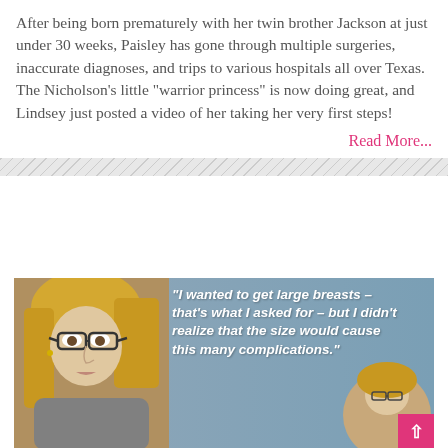After being born prematurely with her twin brother Jackson at just under 30 weeks, Paisley has gone through multiple surgeries, inaccurate diagnoses, and trips to various hospitals all over Texas. The Nicholson's little "warrior princess" is now doing great, and Lindsey just posted a video of her taking her very first steps!
Read More...
[Figure (photo): A blonde woman with glasses on the left side of image with a blue-grey background. A quote in bold white italic text reads: "I wanted to get large breasts – that's what I asked for – but I didn't realize that the size would cause this many complications." A pink scroll-to-top button is visible in the bottom right corner.]